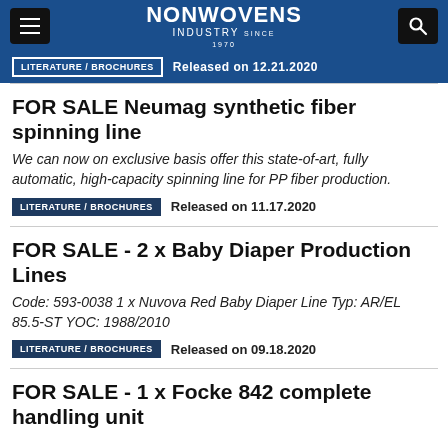NONWOVENS INDUSTRY
LITERATURE / BROCHURES   Released on 12.21.2020
FOR SALE Neumag synthetic fiber spinning line
We can now on exclusive basis offer this state-of-art, fully automatic, high-capacity spinning line for PP fiber production.
LITERATURE / BROCHURES   Released on 11.17.2020
FOR SALE - 2 x Baby Diaper Production Lines
Code: 593-0038 1 x Nuvova Red Baby Diaper Line Typ: AR/EL 85.5-ST YOC: 1988/2010
LITERATURE / BROCHURES   Released on 09.18.2020
FOR SALE - 1 x Focke 842 complete handling unit